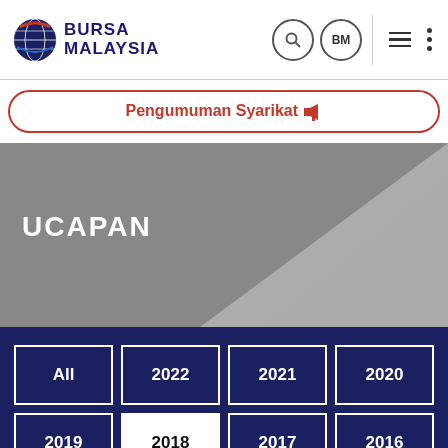[Figure (logo): Bursa Malaysia logo with globe icon and red/blue text]
Pengumuman Syarikat 📢
UCAPAN
All
2022
2021
2020
2019
2018
2017
2016